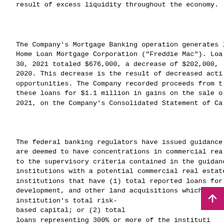result of excess liquidity throughout the economy.
The Company's Mortgage Banking operation generates loans for Home Loan Mortgage Corporation ("Freddie Mac"). Loans at June 30, 2021 totaled $676,000, a decrease of $202,000, compared to 2020. This decrease is the result of decreased activity and opportunities. The Company recorded proceeds from the sale of these loans for $1.1 million in gains on the sale of loans in 2021, on the Company's Consolidated Statement of Cash...
The federal banking regulators have issued guidance on institutions that are deemed to have concentrations in commercial real estate. According to the supervisory criteria contained in the guidance, banking institutions with a potential commercial real estate concentration are institutions that have (1) total reported loans for construction, land development, and other land acquisitions which represent 100% or more of the institution's total risk-based capital; or (2) total commercial real estate loans representing 300% or more of the institution's total risk-based capital and the institution's commercial real estate loan portfolio has increased 50% or more during the prior 36 months are identified as having...